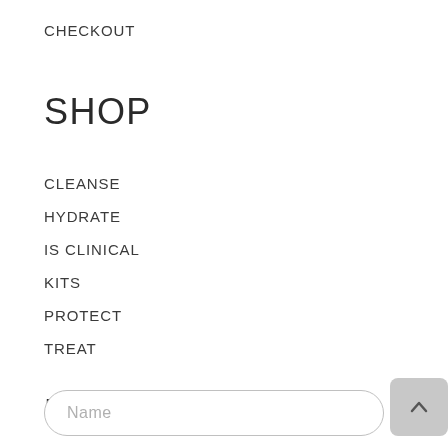CHECKOUT
SHOP
CLEANSE
HYDRATE
IS CLINICAL
KITS
PROTECT
TREAT
MAILING LIST
Name